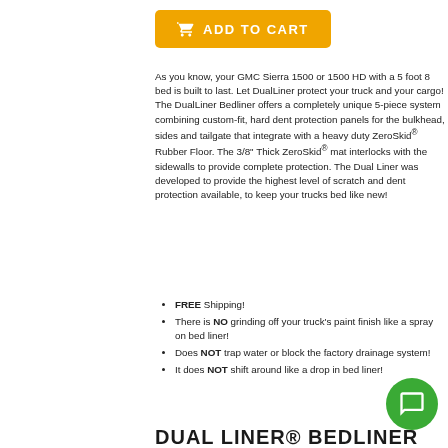ADD TO CART
As you know, your GMC Sierra 1500 or 1500 HD with a 5 foot 8 bed is built to last. Let DualLiner protect your truck and your cargo! The DualLiner Bedliner offers a completely unique 5-piece system combining custom-fit, hard dent protection panels for the bulkhead, sides and tailgate that integrate with a heavy duty ZeroSkid® Rubber Floor. The 3/8" Thick ZeroSkid® mat interlocks with the sidewalls to provide complete protection. The Dual Liner was developed to provide the highest level of scratch and dent protection available, to keep your trucks bed like new!
FREE Shipping!
There is NO grinding off your truck's paint finish like a spray on bed liner!
Does NOT trap water or block the factory drainage system!
It does NOT shift around like a drop in bed liner!
DUAL LINER® BEDLINER